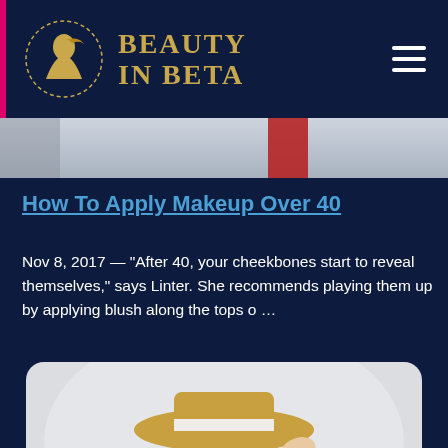BEAUTY IN BETA
[Figure (photo): Hero banner partial image — blurred background with red vertical element]
How To Apply Makeup Over 40
Nov 8, 2017 — "After 40, your cheekbones start to reveal themselves," says Linter. She recommends playing them up by applying blush along the tops o …
[Figure (photo): Photo of a smiling woman wearing a straw hat with white band, red lipstick, and a red polka dot scarf, tilting the brim of her hat]